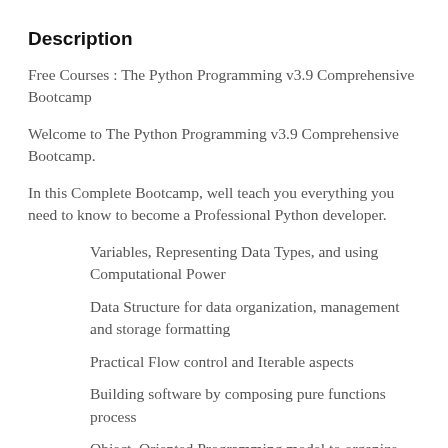Description
Free Courses : The Python Programming v3.9 Comprehensive Bootcamp
Welcome to The Python Programming v3.9 Comprehensive Bootcamp.
In this Complete Bootcamp, well teach you everything you need to know to become a Professional Python developer.
Variables, Representing Data Types, and using Computational Power
Data Structure for data organization, management and storage formatting
Practical Flow control and Iterable aspects
Building software by composing pure functions process
Object, Oriented Programming model to organize